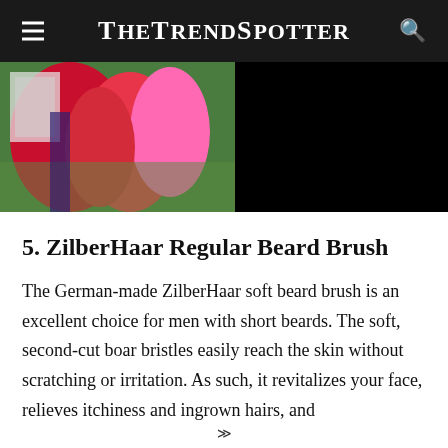TheTrendSpotter
[Figure (photo): Photo showing people in colorful red and pink flowing garments outdoors on grass, left half visible; right half is black/dark.]
5. ZilberHaar Regular Beard Brush
The German-made ZilberHaar soft beard brush is an excellent choice for men with short beards. The soft, second-cut boar bristles easily reach the skin without scratching or irritation. As such, it revitalizes your face, relieves itchiness and ingrown hairs, and
≫